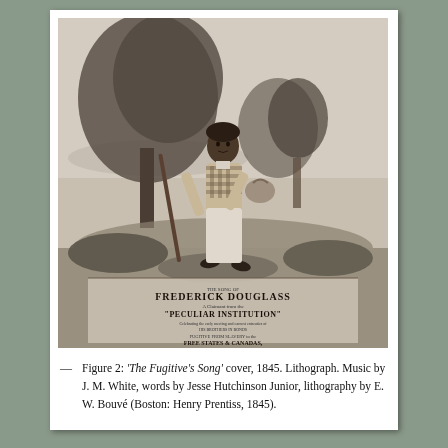[Figure (illustration): Sheet music cover for 'The Fugitive's Song' (1845), a lithograph showing Frederick Douglass as a runaway slave walking through a landscape with trees, carrying a walking stick and bundle. Text on the cover reads 'FREDERICK DOUGLASS' and 'PECULIAR INSTITUTION' among other text. Music by J. M. White, words by Jesse Hutchinson Junior, lithography by E. W. Bouvé.]
Figure 2: 'The Fugitive's Song' cover, 1845. Lithograph. Music by J. M. White, words by Jesse Hutchinson Junior, lithography by E. W. Bouvé (Boston: Henry Prentiss, 1845).